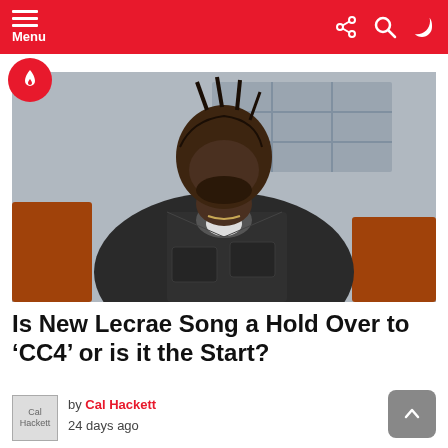Menu
[Figure (photo): A man with braided hair wearing a dark denim jacket, looking downward, seated in what appears to be a church pew with wooden benches visible in the background.]
Is New Lecrae Song a Hold Over to ‘CC4’ or is it the Start?
by Cal Hackett
24 days ago